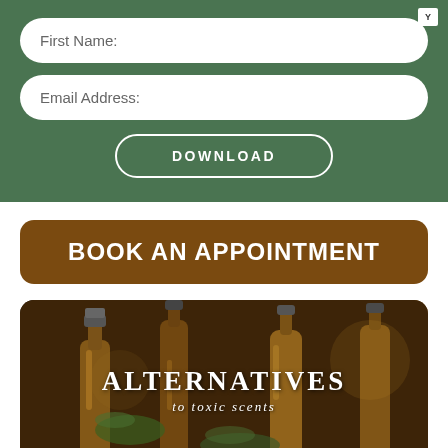First Name:
Email Address:
DOWNLOAD
BOOK AN APPOINTMENT
[Figure (photo): Photo of amber essential oil bottles with dropper tops and green herbs/rosemary sprigs on a table, with overlay text reading ALTERNATIVES to toxic scents]
Sickening Scents And